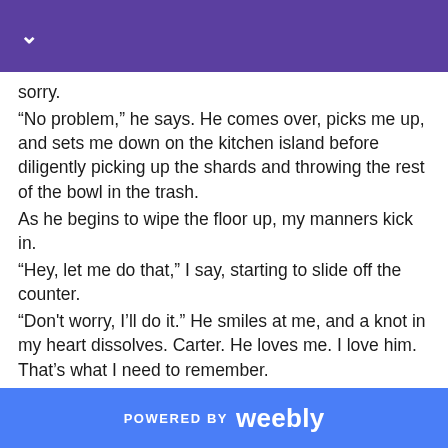Sorry.
“No problem,” he says. He comes over, picks me up, and sets me down on the kitchen island before diligently picking up the shards and throwing the rest of the bowl in the trash.
As he begins to wipe the floor up, my manners kick in.
“Hey, let me do that,” I say, starting to slide off the counter.
“Don't worry, I’ll do it.” He smiles at me, and a knot in my heart dissolves. Carter. He loves me. I love him. That’s what I need to remember.
When he’s finished, he gets out a Band-Aid and carefully places it over the little cut on my leg. “There you go. All set. I hope Hunter didn’t burn the meat.”
“I heard that,” a voice calls from outside. “Like I’d make a mistake doing something as manly as grilling meat.”
Carter laughs and kisses me before we take the
POWERED BY weebly